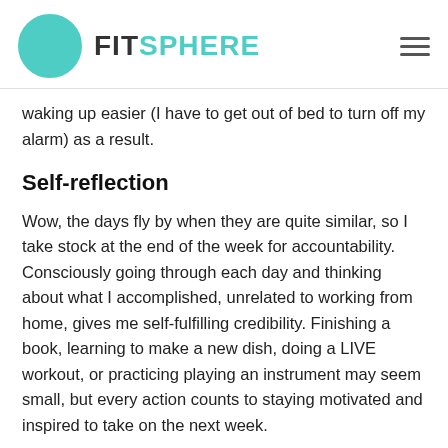FITSPHERE
waking up easier (I have to get out of bed to turn off my alarm) as a result.
Self-reflection
Wow, the days fly by when they are quite similar, so I take stock at the end of the week for accountability. Consciously going through each day and thinking about what I accomplished, unrelated to working from home, gives me self-fulfilling credibility. Finishing a book, learning to make a new dish, doing a LIVE workout, or practicing playing an instrument may seem small, but every action counts to staying motivated and inspired to take on the next week.
Keep shining, stay positive, and keep celebrating life even when there are downs.  Be there for yourself and each other and keep leaning into the challenges that present themselves